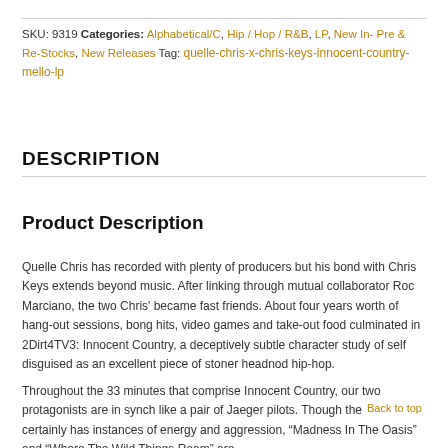SKU: 9319 Categories: Alphabetical/C, Hip / Hop / R&B, LP, New In- Pre & Re-Stocks, New Releases Tag: quelle-chris-x-chris-keys-innocent-country-mello-lp
DESCRIPTION
Product Description
Quelle Chris has recorded with plenty of producers but his bond with Chris Keys extends beyond music. After linking through mutual collaborator Roc Marciano, the two Chris' became fast friends. About four years worth of hang-out sessions, bong hits, video games and take-out food culminated in 2Dirt4TV3: Innocent Country, a deceptively subtle character study of self disguised as an excellent piece of stoner headnod hip-hop.
Throughout the 33 minutes that comprise Innocent Country, our two protagonists are in synch like a pair of Jaeger pilots. Though the LP certainly has instances of energy and aggression, "Madness In The Oasis" and "Where The Wild Things Roam" are